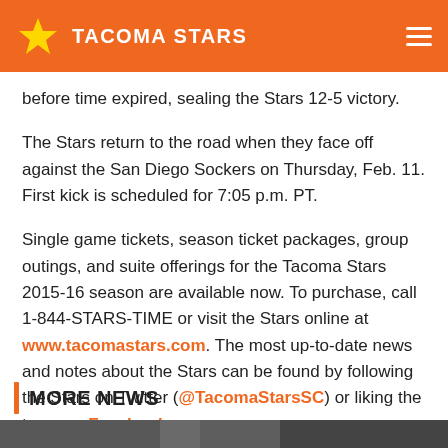TACOMA STARS
before time expired, sealing the Stars 12-5 victory.
The Stars return to the road when they face off against the San Diego Sockers on Thursday, Feb. 11. First kick is scheduled for 7:05 p.m. PT.
Single game tickets, season ticket packages, group outings, and suite offerings for the Tacoma Stars 2015-16 season are available now. To purchase, call 1-844-STARS-TIME or visit the Stars online at www.tacomastars.com. The most up-to-date news and notes about the Stars can be found by following the Stars on Twitter (@TacomaStarsSC) or liking the team on Facebook.
MORE NEWS
[Figure (photo): Partial image at bottom of page, dark toned sports photo]